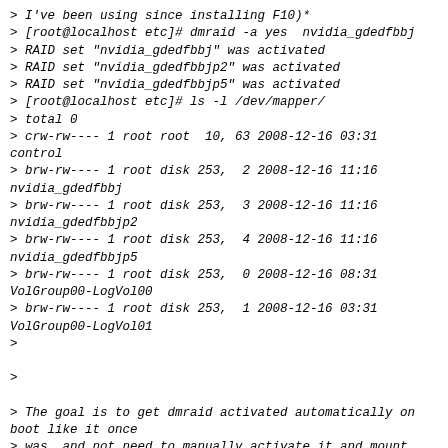> I've been using since installing F10)*
> [root@localhost etc]# dmraid -a yes  nvidia_gdedfbbj
> RAID set "nvidia_gdedfbbj" was activated
> RAID set "nvidia_gdedfbbjp2" was activated
> RAID set "nvidia_gdedfbbjp5" was activated
> [root@localhost etc]# ls -l /dev/mapper/
> total 0
> crw-rw---- 1 root root  10, 63 2008-12-16 03:31 control
> brw-rw---- 1 root disk 253,  2 2008-12-16 11:16 nvidia_gdedfbbj
> brw-rw---- 1 root disk 253,  3 2008-12-16 11:16 nvidia_gdedfbbjp2
> brw-rw---- 1 root disk 253,  4 2008-12-16 11:16 nvidia_gdedfbbjp5
> brw-rw---- 1 root disk 253,  0 2008-12-16 08:31 VolGroup00-LogVol00
> brw-rw---- 1 root disk 253,  1 2008-12-16 03:31 VolGroup00-LogVol01
>
>
> The goal is to get dmraid activated automatically on boot like it once
> was, and not need to manually activate it and mount the
> nvidia_gdedfbbjp5 partition. As you might notice from the fstab, the
> individual partitions that make up nvidia_gdedfbbjp5 are not listed in
> the fstab file, yet Fedora is mounting them